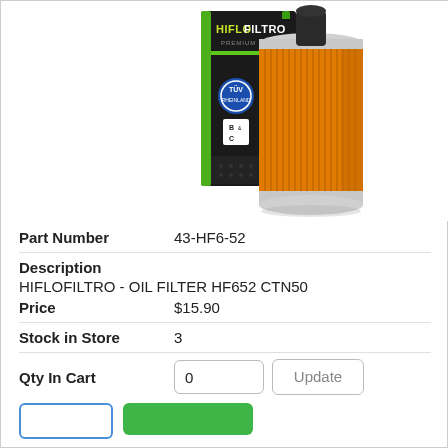[Figure (photo): HiFloFiltro oil filter HF652 product photo showing orange cylindrical filter element next to black product box with green branding and HiFloFiltro logo]
Part Number   43-HF6-52
Description
HIFLOFILTRO - OIL FILTER HF652 CTN50
Price   $15.90
Stock in Store   3
Qty In Cart   0   Update